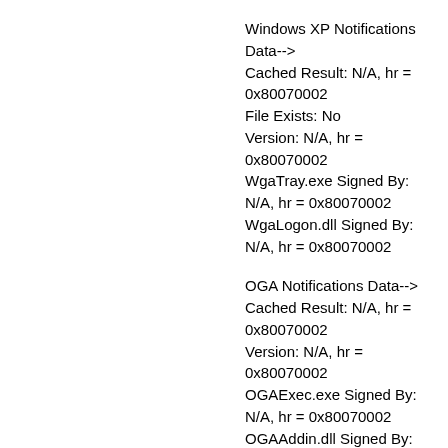Windows XP Notifications Data-->
Cached Result: N/A, hr = 0x80070002
File Exists: No
Version: N/A, hr = 0x80070002
WgaTray.exe Signed By: N/A, hr = 0x80070002
WgaLogon.dll Signed By: N/A, hr = 0x80070002
OGA Notifications Data-->
Cached Result: N/A, hr = 0x80070002
Version: N/A, hr = 0x80070002
OGAExec.exe Signed By: N/A, hr = 0x80070002
OGAAddin.dll Signed By: N/A, hr = 0x80070002
OGA Data-->
Office Status: 109 N/A
OGA Version: N/A, 0x80070002
Signed By: N/A, hr = 0x80070002
Office Diagnostics: B4D0AA8B-604-645_025D1FF3-364-80041010_025D1FF3-229-80041010_025D1FF3-230-1_025D1FF3-517-80040154_025D1FF3-237-